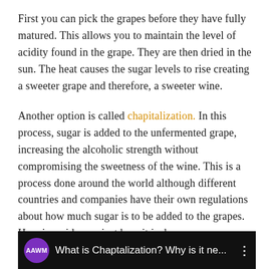First you can pick the grapes before they have fully matured. This allows you to maintain the level of acidity found in the grape. They are then dried in the sun. The heat causes the sugar levels to rise creating a sweeter grape and therefore, a sweeter wine.
Another option is called chapitalization. In this process, sugar is added to the unfermented grape, increasing the alcoholic strength without compromising the sweetness of the wine. This is a process done around the world although different countries and companies have their own regulations about how much sugar is to be added to the grapes.  Here is a video on just how it is done.
[Figure (screenshot): YouTube video thumbnail/preview showing AAWM channel icon (purple circle with white 'AAWM' text) and video title 'What is Chaptalization? Why is it ne...' with a three-dot menu icon, on a dark background with a partial image of what appears to be winemaking equipment.]